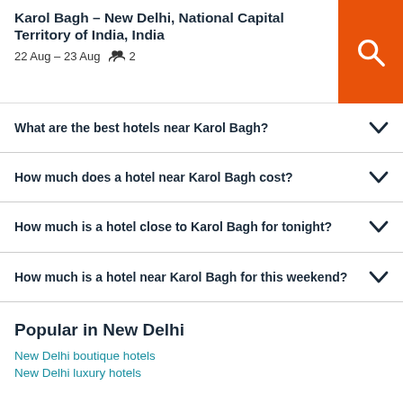Karol Bagh – New Delhi, National Capital Territory of India, India
22 Aug – 23 Aug  👥 2
What are the best hotels near Karol Bagh?
How much does a hotel near Karol Bagh cost?
How much is a hotel close to Karol Bagh for tonight?
How much is a hotel near Karol Bagh for this weekend?
Popular in New Delhi
New Delhi boutique hotels
New Delhi luxury hotels